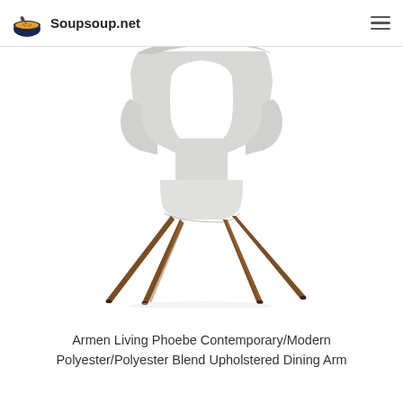Soupsoup.net
[Figure (photo): A mid-century modern dining arm chair with light gray polyester/polyester blend upholstery and tapered walnut-finish wooden legs, photographed on white background. The chair features an open-back design with curved arms.]
Armen Living Phoebe Contemporary/Modern Polyester/Polyester Blend Upholstered Dining Arm